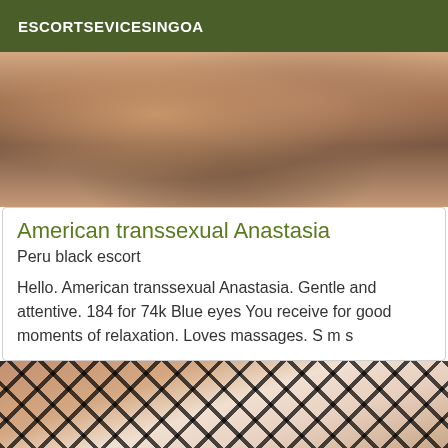ESCORTSEVICESINGOA
[Figure (photo): Close-up photo of a woman with brown hair]
American transsexual Anastasia
Peru black escort
Hello. American transsexual Anastasia. Gentle and attentive. 184 for 74k Blue eyes You receive for good moments of relaxation. Loves massages. S m s
[Figure (photo): Photo of a person wearing fishnet clothing]